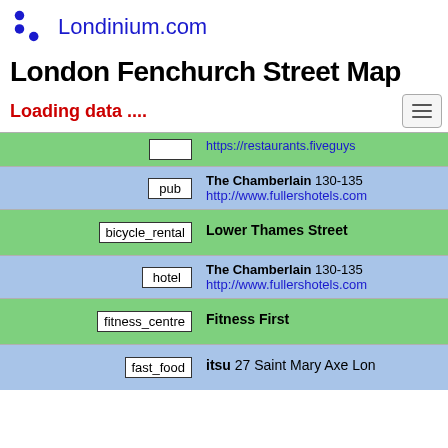Londinium.com
London Fenchurch Street Map
Loading data ....
| type | name/info |
| --- | --- |
|  | https://restaurants.fiveguys... |
| pub | The Chamberlain 130-135... http://www.fullershotels.com... |
| bicycle_rental | Lower Thames Street |
| hotel | The Chamberlain 130-135... http://www.fullershotels.com... |
| fitness_centre | Fitness First |
| fast_food | itsu 27 Saint Mary Axe Lon... |